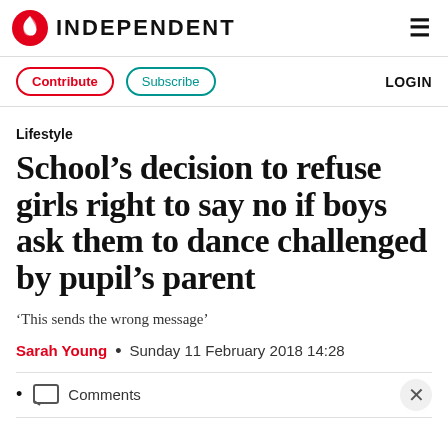INDEPENDENT
Lifestyle
School’s decision to refuse girls right to say no if boys ask them to dance challenged by pupil’s parent
‘This sends the wrong message’
Sarah Young • Sunday 11 February 2018 14:28
Comments